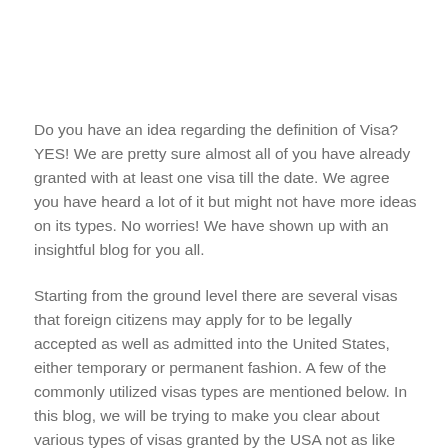Do you have an idea regarding the definition of Visa? YES! We are pretty sure almost all of you have already granted with at least one visa till the date. We agree you have heard a lot of it but might not have more ideas on its types. No worries! We have shown up with an insightful blog for you all.
Starting from the ground level there are several visas that foreign citizens may apply for to be legally accepted as well as admitted into the United States, either temporary or permanent fashion. A few of the commonly utilized visas types are mentioned below. In this blog, we will be trying to make you clear about various types of visas granted by the USA not as like that detailed analysis by